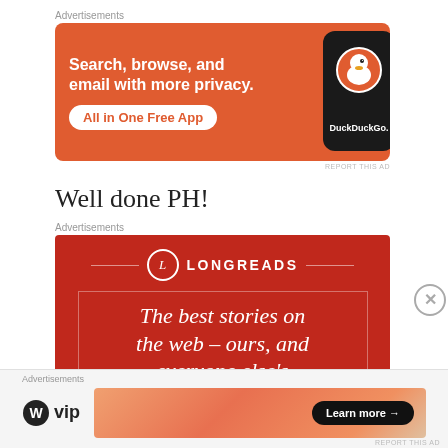Advertisements
[Figure (illustration): DuckDuckGo advertisement banner: orange background, white bold text 'Search, browse, and email with more privacy.' with 'All in One Free App' button, and a phone showing the DuckDuckGo app logo on the right side.]
REPORT THIS AD
Well done PH!
Advertisements
[Figure (illustration): Longreads advertisement: dark red background, Longreads logo at top (letter L in circle), decorative box border, text 'The best stories on the web – ours, and everyone else's' in white italic serif font.]
Advertisements
[Figure (illustration): WordPress VIP advertisement: WordPress logo with 'vip' text on left, and a gradient banner with 'Learn more →' black button on right.]
REPORT THIS AD